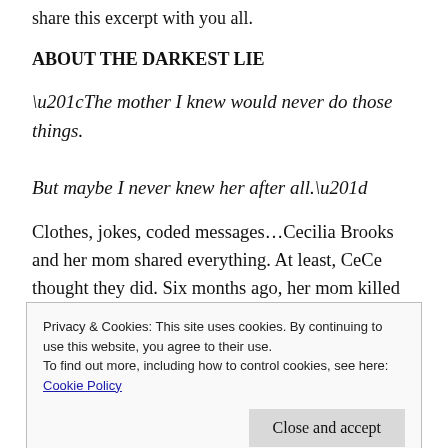share this excerpt with you all.
ABOUT THE DARKEST LIE
“The mother I knew would never do those things.

But maybe I never knew her after all.”
Clothes, jokes, coded messages…Cecilia Brooks and her mom shared everything. At least, CeCe thought they did. Six months ago, her mom killed herself after accusations of having sex with a student, and CeCe’s
Privacy & Cookies: This site uses cookies. By continuing to use this website, you agree to their use.
To find out more, including how to control cookies, see here:
Cookie Policy
Close and accept
volunteering at the school’s crisis hotline—the same